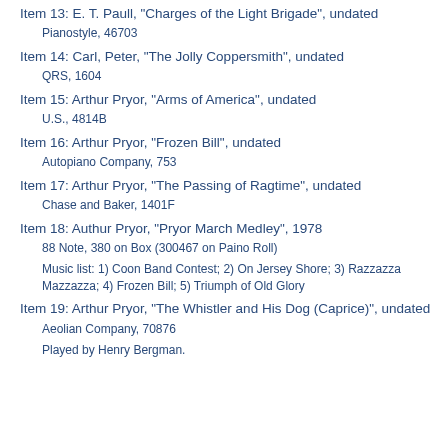Cable Company, 2634
Item 13: E. T. Paull, "Charges of the Light Brigade", undated
Pianostyle, 46703
Item 14: Carl, Peter, "The Jolly Coppersmith", undated
QRS, 1604
Item 15: Arthur Pryor, "Arms of America", undated
U.S., 4814B
Item 16: Arthur Pryor, "Frozen Bill", undated
Autopiano Company, 753
Item 17: Arthur Pryor, "The Passing of Ragtime", undated
Chase and Baker, 1401F
Item 18: Authur Pryor, "Pryor March Medley", 1978
88 Note, 380 on Box (300467 on Paino Roll)
Music list: 1) Coon Band Contest; 2) On Jersey Shore; 3) Razzazza Mazzazza; 4) Frozen Bill; 5) Triumph of Old Glory
Item 19: Arthur Pryor, "The Whistler and His Dog (Caprice)", undated
Aeolian Company, 70876
Played by Henry Bergman.